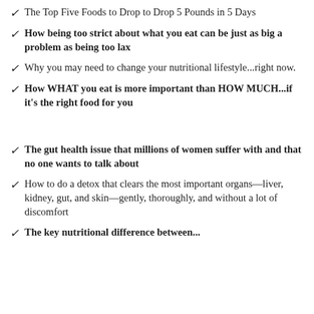The Top Five Foods to Drop to Drop 5 Pounds in 5 Days
How being too strict about what you eat can be just as big a problem as being too lax
Why you may need to change your nutritional lifestyle...right now.
How WHAT you eat is more important than HOW MUCH...if it's the right food for you
The gut health issue that millions of women suffer with and that no one wants to talk about
How to do a detox that clears the most important organs—liver, kidney, gut, and skin—gently, thoroughly, and without a lot of discomfort
The key nutritional difference between...